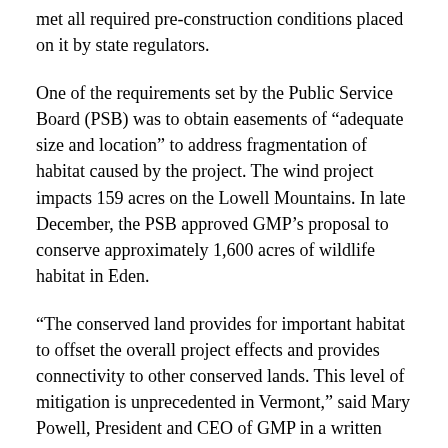met all required pre-construction conditions placed on it by state regulators.
One of the requirements set by the Public Service Board (PSB) was to obtain easements of “adequate size and location” to address fragmentation of habitat caused by the project. The wind project impacts 159 acres on the Lowell Mountains. In late December, the PSB approved GMP’s proposal to conserve approximately 1,600 acres of wildlife habitat in Eden.
“The conserved land provides for important habitat to offset the overall project effects and provides connectivity to other conserved lands. This level of mitigation is unprecedented in Vermont,” said Mary Powell, President and CEO of GMP in a written statement.
In addition to the two parcels just approved for conservation in Eden, GMP has also conserved approximately 1,070 acres on Lowell Mountain. Of these acres 770 acres will be conserved in perpetuity (for…)